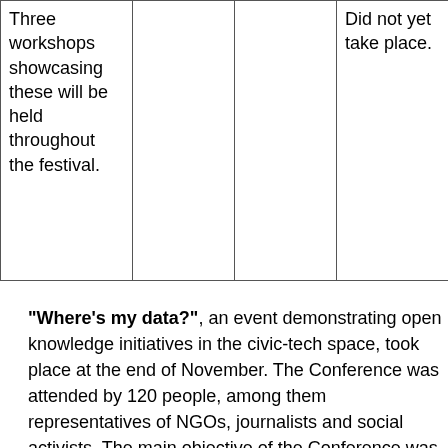| Three workshops showcasing these will be held throughout the festival. |  |  | Did not yet take place. | ac
in
de
se
wo
fro
ev
wo
wi
tw
se |
"Where's my data?", an event demonstrating open knowledge initiatives in the civic-tech space, took place at the end of November. The Conference was attended by 120 people, among them representatives of NGOs, journalists and social activists. The main objective of the Conference was presenting the technological tools of The...